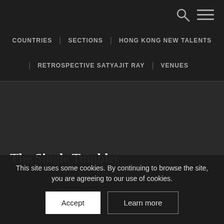Navigation header with search and menu icons
COUNTRIES | SECTIONS | HONG KONG NEW TALENTS
RETROSPECTIVE SATYAJIT RAY | VENUES
The Single Tumbler
Sections | Sections
This site uses some cookies. By continuing to browse the site, you are agreeing to our use of cookies.
Accept
Learn more